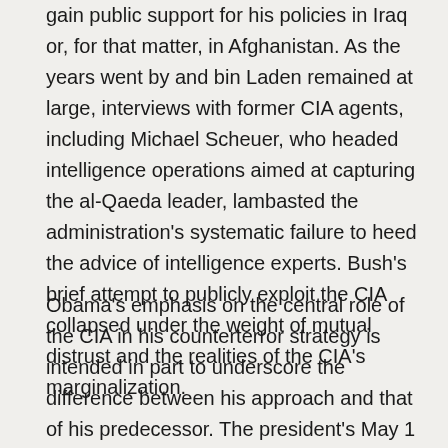gain public support for his policies in Iraq or, for that matter, in Afghanistan. As the years went by and bin Laden remained at large, interviews with former CIA agents, including Michael Scheuer, who headed intelligence operations aimed at capturing the al-Qaeda leader, lambasted the administration's systematic failure to heed the advice of intelligence experts. Bush's brief attempt to publicly exploit the CIA collapsed under the weight of mutual distrust and the realities of the CIA's marginalization.
Obama's emphasis on the central role of the CIA in his counterterror strategy is intended in part to underscore the difference between his approach and that of his predecessor. The president's May 1 speech announcing the death of bin Laden linked the success of the mission to the centrality of the CIA, suggesting a direct contrast with the Bush administration.